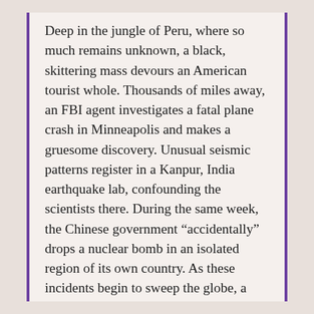Deep in the jungle of Peru, where so much remains unknown, a black, skittering mass devours an American tourist whole. Thousands of miles away, an FBI agent investigates a fatal plane crash in Minneapolis and makes a gruesome discovery. Unusual seismic patterns register in a Kanpur, India earthquake lab, confounding the scientists there. During the same week, the Chinese government “accidentally” drops a nuclear bomb in an isolated region of its own country. As these incidents begin to sweep the globe, a mysterious package from South America arrives at a Washington, D.C. laboratory. Something wants out.